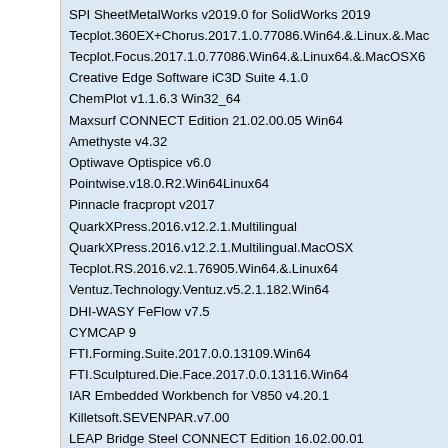SPI SheetMetalWorks v2019.0 for SolidWorks 2019
Tecplot.360EX+Chorus.2017.1.0.77086.Win64.&.Linux.&.Mac
Tecplot.Focus.2017.1.0.77086.Win64.&.Linux64.&.MacOSX6
Creative Edge Software iC3D Suite 4.1.0
ChemPlot v1.1.6.3 Win32_64
Maxsurf CONNECT Edition 21.02.00.05 Win64
Amethyste v4.32
Optiwave Optispice v6.0
Pointwise.v18.0.R2.Win64Linux64
Pinnacle fracpropt v2017
QuarkXPress.2016.v12.2.1.Multilingual
QuarkXPress.2016.v12.2.1.Multilingual.MacOSX
Tecplot.RS.2016.v2.1.76905.Win64.&.Linux64
Ventuz.Technology.Ventuz.v5.2.1.182.Win64
DHI-WASY FeFlow v7.5
CYMCAP 9
FTI.Forming.Suite.2017.0.0.13109.Win64
FTI.Sculptured.Die.Face.2017.0.0.13116.Win64
IAR Embedded Workbench for V850 v4.20.1
Killetsoft.SEVENPAR.v7.00
LEAP Bridge Steel CONNECT Edition 16.02.00.01
Biovia.Materials.Studio.2017.v17.1.0.48.Windows.&.Linux
DEM.Solutions.EDEM.2017.Pro.v3.0.Win64
AMIQ DVT eclipse IDE v19.1.13
IAR Embedded Workbench for STM8 v2.20.2